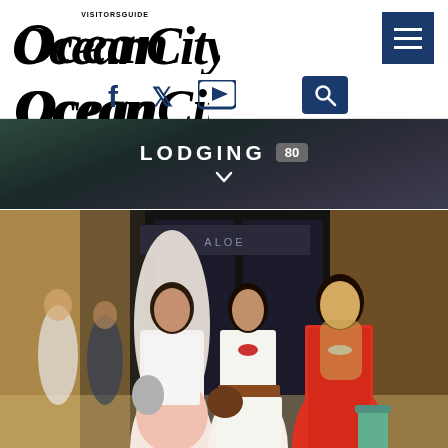Ocean City Visitors Guide
[Figure (screenshot): Ocean City Visitors Guide website header with logo, social media icons (Facebook, Twitter, YouTube), search button, and hamburger menu button]
[Figure (photo): Three young women shopping at a luxury mall, one in white tank top with pink skirt, one in white strapless dress with brown belt, one in red dress, carrying bags outside store]
LODGING 80